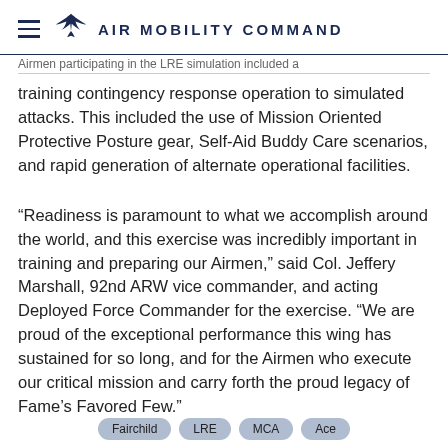AIR MOBILITY COMMAND
Airmen participating in the LRE simulation included a training contingency response operation to simulated attacks. This included the use of Mission Oriented Protective Posture gear, Self-Aid Buddy Care scenarios, and rapid generation of alternate operational facilities.
“Readiness is paramount to what we accomplish around the world, and this exercise was incredibly important in training and preparing our Airmen,” said Col. Jeffery Marshall, 92nd ARW vice commander, and acting Deployed Force Commander for the exercise. “We are proud of the exceptional performance this wing has sustained for so long, and for the Airmen who execute our critical mission and carry forth the proud legacy of Fame’s Favored Few.”
Fairchild   LRE   MCA   Ace